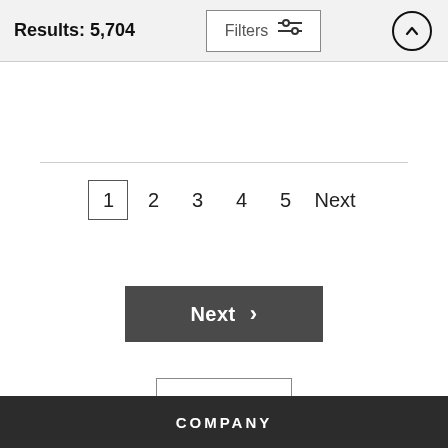Results: 5,704
Filters
1
2
3
4
5
Next
Next ›
Wall Art
COMPANY